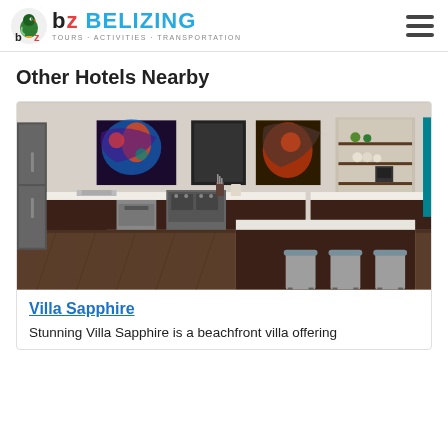BELIZING TOURS · ACTIVITIES · TRANSPORTATION
Other Hotels Nearby
[Figure (photo): Interior photo of a modern kitchen/dining area with dark cabinets, white countertops, a kitchen island with bar stools, stainless steel appliances, and colorful artwork on the walls.]
Villa Sapphire
Stunning Villa Sapphire is a beachfront villa offering